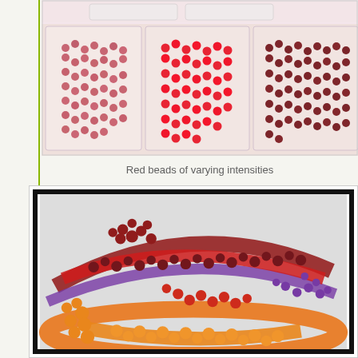[Figure (photo): Photo of red beads of varying intensities in a clear plastic compartmentalized storage box, showing three compartments with light red, bright red, and dark red seed beads]
Red beads of varying intensities
[Figure (photo): Close-up photo of a colorful beaded bracelet or art piece showing orange, red, dark red/maroon, and purple seed beads woven together in a flowing twisted pattern against a light background, with a thick black border frame]